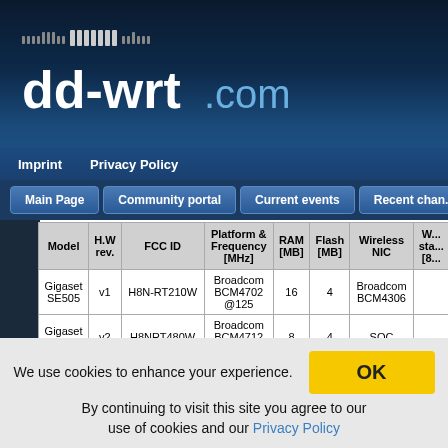dd-wrt.com
Imprint   Privacy Policy
Main Page   Community portal   Current events   Recent changes
| Model | H.W rev. | FCC ID | Platform & Frequency [MHz] | RAM [MB] | Flash [MB] | Wireless NIC | W... sta... [8... |
| --- | --- | --- | --- | --- | --- | --- | --- |
| Gigaset SE505 | v1 | H8N-RT210W | Broadcom BCM4702 @125 | 16 | 4 | Broadcom BCM4306 |  |
| Gigaset SE505 | v2 | H8NRT480W | Broadcom BCM4712 @200 | 8 | 4 | SOC |  |
| Gigaset |  |  | Broadcom |  |  |  |  |
We use cookies to enhance your experience. By continuing to visit this site you agree to our use of cookies and our Privacy Policy